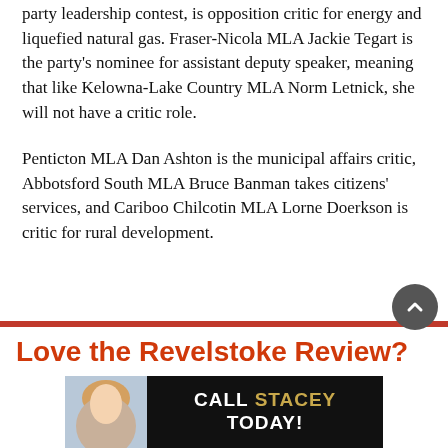party leadership contest, is opposition critic for energy and liquefied natural gas. Fraser-Nicola MLA Jackie Tegart is the party's nominee for assistant deputy speaker, meaning that like Kelowna-Lake Country MLA Norm Letnick, she will not have a critic role.
Penticton MLA Dan Ashton is the municipal affairs critic, Abbotsford South MLA Bruce Banman takes citizens' services, and Cariboo Chilcotin MLA Lorne Doerkson is critic for rural development.
[Figure (infographic): Advertisement for Revelstoke Review with headline 'Love the Revelstoke Review?' and a banner ad showing a woman with text 'CALL STACEY TODAY!' in bold white and gold letters on black background.]